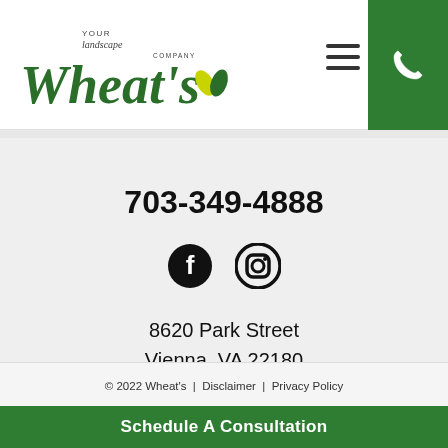[Figure (logo): Wheat's Your Landscape Company logo with green italic text and leaf icon]
703-349-4888
[Figure (illustration): Facebook and Instagram social media icons]
8620 Park Street
Vienna, VA 22180
© 2022 Wheat's | Disclaimer | Privacy Policy
Schedule A Consultation